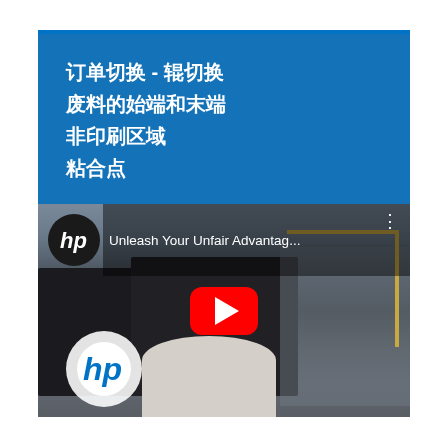订单切换 - 辊切换
废料的始端和末端
非印刷区域
粘合点
[Figure (screenshot): HP YouTube video thumbnail showing a printing factory floor with industrial roll-fed printing machines. Title reads 'Unleash Your Unfair Advantag...' with HP logo visible in top-left and bottom-left of thumbnail. Red YouTube play button in center.]